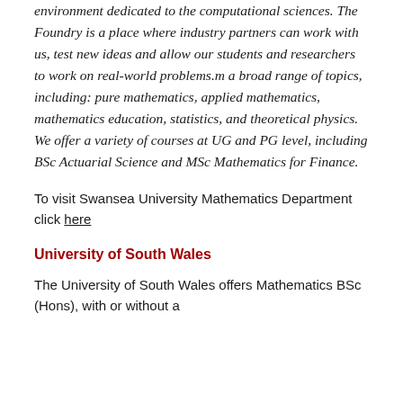environment dedicated to the computational sciences. The Foundry is a place where industry partners can work with us, test new ideas and allow our students and researchers to work on real-world problems.m a broad range of topics, including: pure mathematics, applied mathematics, mathematics education, statistics, and theoretical physics. We offer a variety of courses at UG and PG level, including BSc Actuarial Science and MSc Mathematics for Finance.
To visit Swansea University Mathematics Department click here
University of South Wales
The University of South Wales offers Mathematics BSc (Hons), with or without a